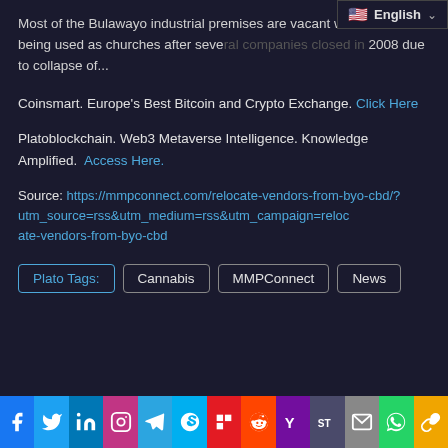Most of the Bulawayo industrial premises are vacant with some being used as churches after several companies closed in 2008 due to collapse of...
Coinsmart. Europe's Best Bitcoin and Crypto Exchange. Click Here
Platoblockchain. Web3 Metaverse Intelligence. Knowledge Amplified. Access Here.
Source: https://mmpconnect.com/relocate-vendors-from-byo-cbd/?utm_source=rss&utm_medium=rss&utm_campaign=relocate-vendors-from-byo-cbd
Plato Tags: Cannabis MMPConnect News
Social share bar: Facebook, Twitter, LinkedIn, Instagram, Telegram, Skype, Flipboard, Reddit, Yahoo, SoundCloud, Mail, WhatsApp, Copy